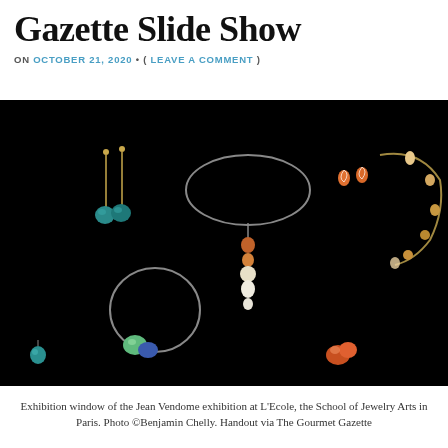Gazette Slide Show
ON OCTOBER 21, 2020 • ( LEAVE A COMMENT )
[Figure (photo): Dark background photograph showing multiple pieces of jewelry including necklaces, earrings, and rings displayed against a black background. Items feature colorful gemstones in turquoise, orange, green, and white.]
Exhibition window of the Jean Vendome exhibition at L'Ecole, the School of Jewelry Arts in Paris. Photo ©Benjamin Chelly. Handout via The Gourmet Gazette